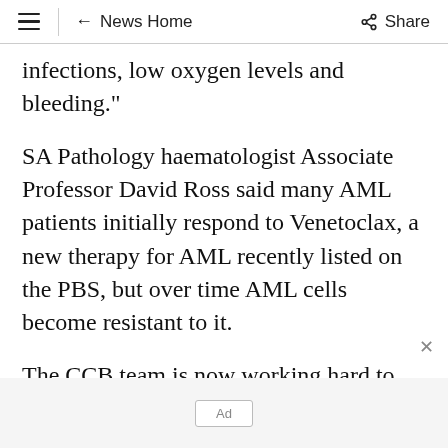≡ ← News Home Share
infections, low oxygen levels and bleeding."
SA Pathology haematologist Associate Professor David Ross said many AML patients initially respond to Venetoclax, a new therapy for AML recently listed on the PBS, but over time AML cells become resistant to it.
The CCB team is now working hard to optimise drugs targeting this pathway to take into clinical trials for AML patients.